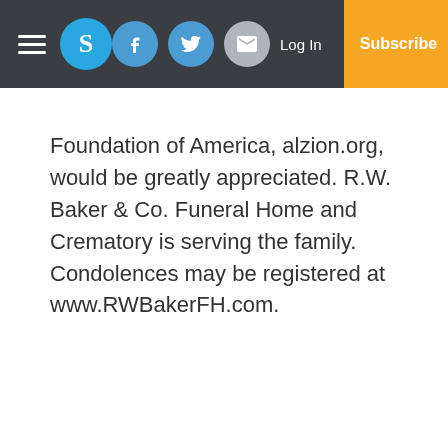Navigation bar with hamburger menu, S logo, Facebook, Twitter, Email icons, Log In, Subscribe
Foundation of America, alzion.org, would be greatly appreciated. R.W. Baker & Co. Funeral Home and Crematory is serving the family. Condolences may be registered at www.RWBakerFH.com.